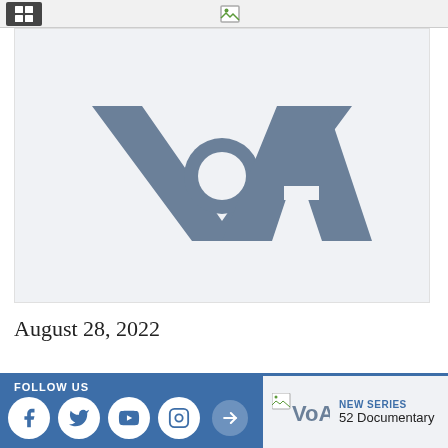[Figure (logo): VOA (Voice of America) logo in gray on light gray background]
August 28, 2022
FOLLOW US
[Figure (logo): Social media icons: Facebook, Twitter, YouTube, Instagram]
[Figure (logo): VOA logo small with NEW SERIES label and 52 Documentary text]